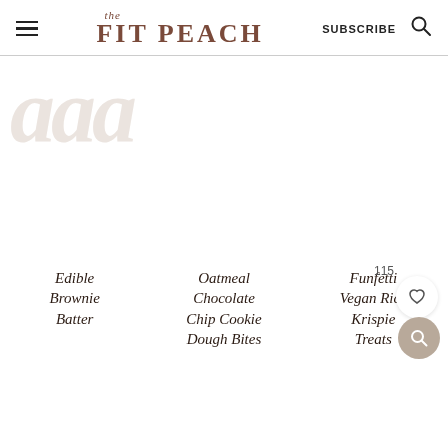the FIT PEACH — SUBSCRIBE — Search
[Figure (illustration): Faint watermark-style italic text showing partial cookie/brownie image placeholder in light gray on white background]
Edible Brownie Batter
Oatmeal Chocolate Chip Cookie Dough Bites
Funfetti Vegan Rice Krispie Treats
115